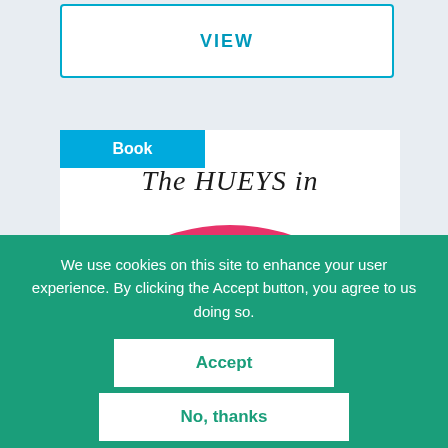VIEW
Book
[Figure (illustration): Book cover for 'The Hueys in NONE the NUMBER' — white background with hand-lettered black text at top reading 'The Hueys in' and a large pink/magenta oval shape with white brush-lettered text reading 'NONE the NUMBER']
Feedback
We use cookies on this site to enhance your user experience. By clicking the Accept button, you agree to us doing so.
Accept
No, thanks